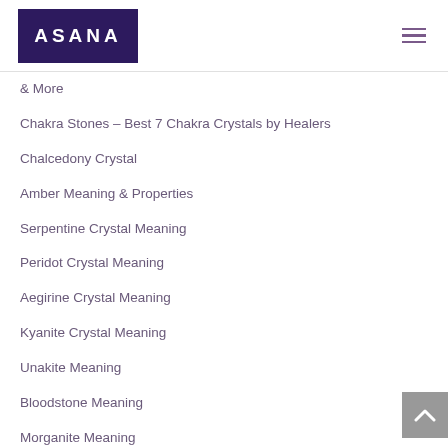ASANA
& More
Chakra Stones – Best 7 Chakra Crystals by Healers
Chalcedony Crystal
Amber Meaning & Properties
Serpentine Crystal Meaning
Peridot Crystal Meaning
Aegirine Crystal Meaning
Kyanite Crystal Meaning
Unakite Meaning
Bloodstone Meaning
Morganite Meaning